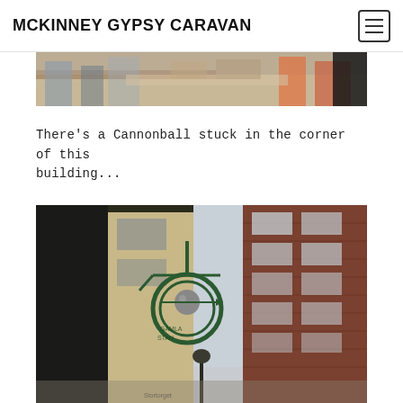MCKINNEY GYPSY CARAVAN
[Figure (photo): Partial view of a market or outdoor stall scene, cropped at top — people visible near wooden tables]
There’s a Cannonball stuck in the corner of this building...
[Figure (photo): Looking up between tall historic buildings in a narrow alley, with a decorative green circular sign hanging on the building wall and a street lamp below]